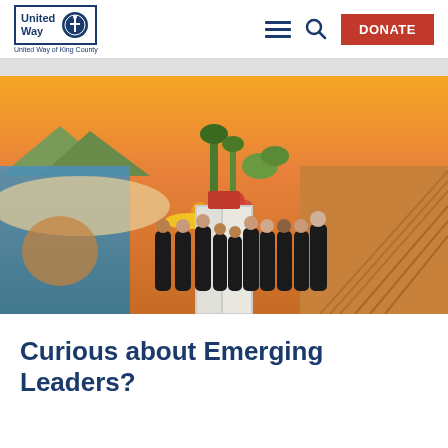[Figure (logo): United Way of King County logo with blue border]
[Figure (photo): Group of approximately 11 volunteers wearing black 'Live United' t-shirts standing in front of a colorful mural depicting a landscape with mountains, ocean, desert cacti, and farmland. A white door is visible in the center background.]
Curious about Emerging Leaders?